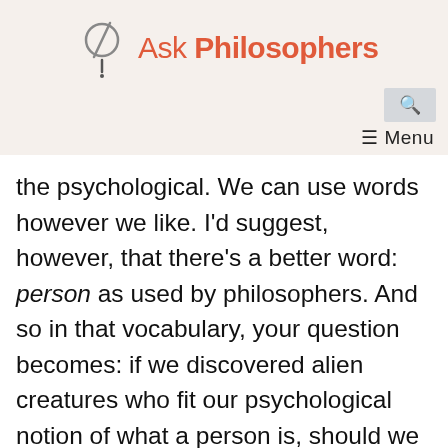Ask Philosophers
the psychological. We can use words however we like. I'd suggest, however, that there's a better word: person as used by philosophers. And so in that vocabulary, your question becomes: if we discovered alien creatures who fit our psychological notion of what a person is, should we count